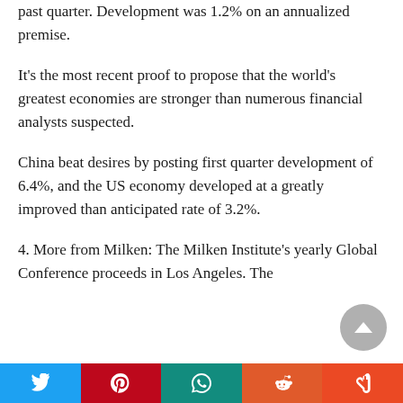past quarter. Development was 1.2% on an annualized premise.
It's the most recent proof to propose that the world's greatest economies are stronger than numerous financial analysts suspected.
China beat desires by posting first quarter development of 6.4%, and the US economy developed at a greatly improved than anticipated rate of 3.2%.
4. More from Milken: The Milken Institute's yearly Global Conference proceeds in Los Angeles. The